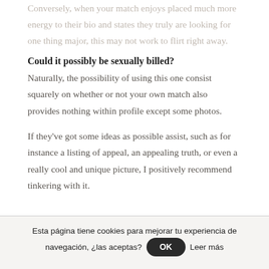Conversely, when your match enjoys placed much more energy to their bio and states they truly are looking for one thing major, this may not work to flirt right away.
Could it possibly be sexually billed?
Naturally, the possibility of using this one consist squarely on whether or not your own match also provides nothing within profile except some photos.
If they've got some ideas as possible assist, such as for instance a listing of appeal, an appealing truth, or even a really cool and unique picture, I positively recommend tinkering with it.
Esta página tiene cookies para mejorar tu experiencia de navegación, ¿las aceptas? OK Leer más